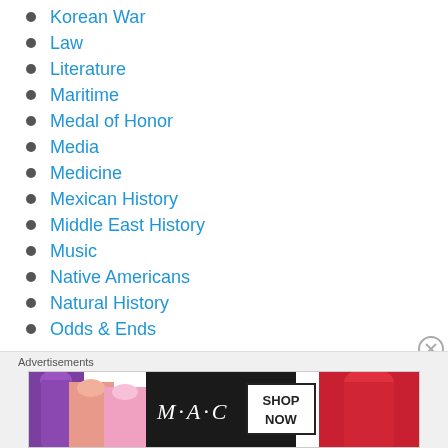Korean War
Law
Literature
Maritime
Medal of Honor
Media
Medicine
Mexican History
Middle East History
Music
Native Americans
Natural History
Odds & Ends
[Figure (other): MAC cosmetics advertisement showing lipsticks with SHOP NOW button]